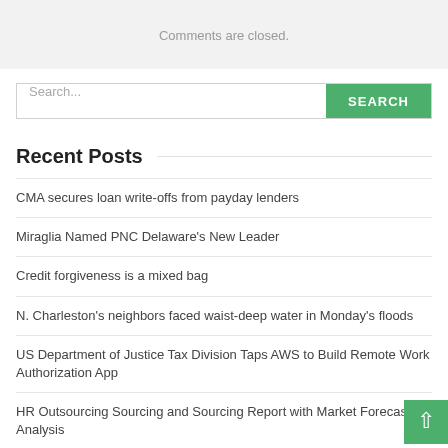Comments are closed.
Search...
Recent Posts
CMA secures loan write-offs from payday lenders
Miraglia Named PNC Delaware's New Leader
Credit forgiveness is a mixed bag
N. Charleston's neighbors faced waist-deep water in Monday's floods
US Department of Justice Tax Division Taps AWS to Build Remote Work Authorization App
HR Outsourcing Sourcing and Sourcing Report with Market Forecast Analysis